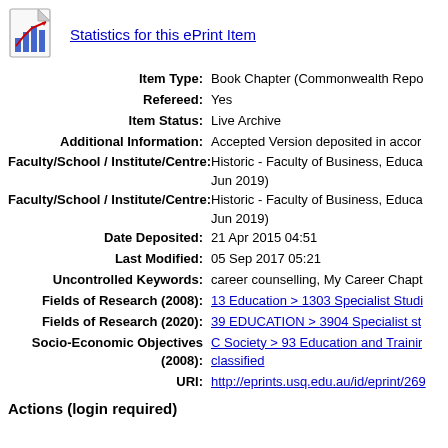[Figure (logo): Bar chart statistics icon with red trend arrow]
Statistics for this ePrint Item
| Field | Value |
| --- | --- |
| Item Type: | Book Chapter (Commonwealth Repo |
| Refereed: | Yes |
| Item Status: | Live Archive |
| Additional Information: | Accepted Version deposited in accor |
| Faculty/School / Institute/Centre: | Historic - Faculty of Business, Educa Jun 2019) |
| Faculty/School / Institute/Centre: | Historic - Faculty of Business, Educa Jun 2019) |
| Date Deposited: | 21 Apr 2015 04:51 |
| Last Modified: | 05 Sep 2017 05:21 |
| Uncontrolled Keywords: | career counselling, My Career Chapt |
| Fields of Research (2008): | 13 Education > 1303 Specialist Studi |
| Fields of Research (2020): | 39 EDUCATION > 3904 Specialist st |
| Socio-Economic Objectives (2008): | C Society > 93 Education and Trainir classified |
| URI: | http://eprints.usq.edu.au/id/eprint/269 |
Actions (login required)